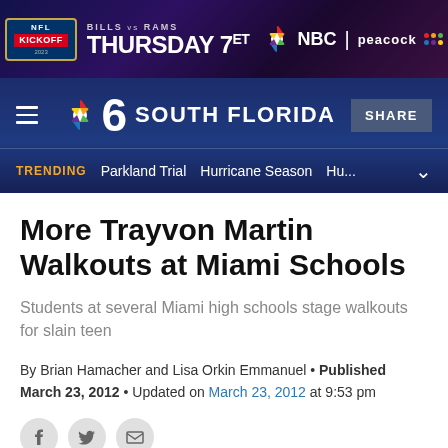[Figure (other): NFL Kickoff 2023 advertisement banner — Bills vs Rams, Thursday 7ET on NBC Peacock, powered by Verizon]
[Figure (logo): NBC 6 South Florida website header with hamburger menu, NBC peacock logo, '6 SOUTH FLORIDA' text, Share button, and trending bar showing: Parkland Trial, Hurricane Season, Hu...]
More Trayvon Martin Walkouts at Miami Schools
Students at several Miami high schools stage walkouts for slain teen
By Brian Hamacher and Lisa Orkin Emmanuel • Published March 23, 2012 • Updated on March 23, 2012 at 9:53 pm